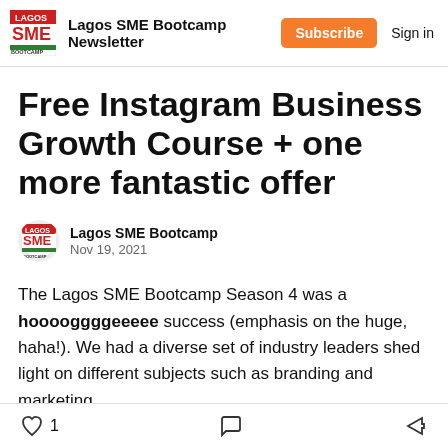Lagos SME Bootcamp Newsletter | Subscribe | Sign in
Free Instagram Business Growth Course + one more fantastic offer
Lagos SME Bootcamp
Nov 19, 2021
The Lagos SME Bootcamp Season 4 was a hooooggggeeeee success (emphasis on the huge, haha!). We had a diverse set of industry leaders shed light on different subjects such as branding and marketing,
1